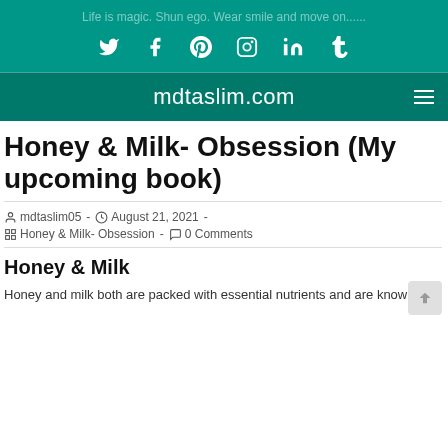Life is magic. Shun ego. Wear smile and move on......
[Figure (infographic): Social media icons: Twitter, Facebook, Pinterest, Instagram, LinkedIn, Tumblr on teal background]
mdtaslim.com
Honey & Milk- Obsession (My upcoming book)
mdtaslim05 - August 21, 2021 - Honey & Milk- Obsession - 0 Comments
Honey & Milk
Honey and milk both are packed with essential nutrients and are known...